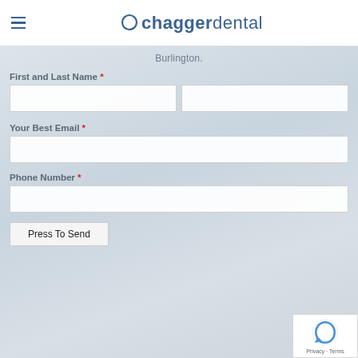chaggerdental
Burlington.
First and Last Name *
Your Best Email *
Phone Number *
Press To Send
Privacy · Terms